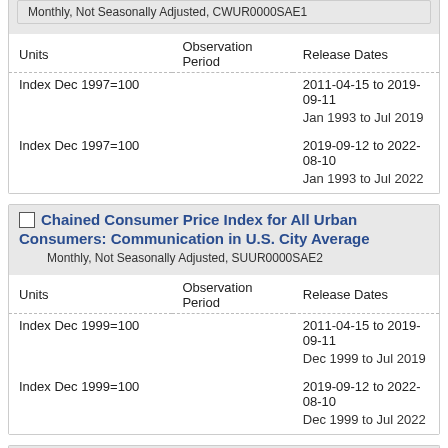Monthly, Not Seasonally Adjusted, CWUR0000SAE1
| Units | Observation Period | Release Dates |
| --- | --- | --- |
| Index Dec 1997=100 |  | 2011-04-15 to 2019-09-11 |
|  |  | Jan 1993 to Jul 2019 |
| Index Dec 1997=100 |  | 2019-09-12 to 2022-08-10 |
|  |  | Jan 1993 to Jul 2022 |
Chained Consumer Price Index for All Urban Consumers: Communication in U.S. City Average
Monthly, Not Seasonally Adjusted, SUUR0000SAE2
| Units | Observation Period | Release Dates |
| --- | --- | --- |
| Index Dec 1999=100 |  | 2011-04-15 to 2019-09-11 |
|  |  | Dec 1999 to Jul 2019 |
| Index Dec 1999=100 |  | 2019-09-12 to 2022-08-10 |
|  |  | Dec 1999 to Jul 2022 |
Chained Consumer Price Index for All Urban Consumers: Education in U.S. City Average